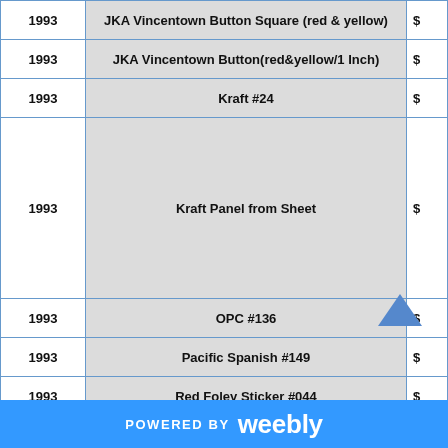| Year | Item | Price |
| --- | --- | --- |
| 1993 | JKA Vincentown Button Square (red & yellow) | $ |
| 1993 | JKA Vincentown Button(red&yellow/1 Inch) | $ |
| 1993 | Kraft #24 | $ |
| 1993 | Kraft Panel from Sheet | $ |
| 1993 | OPC #136 | $ |
| 1993 | Pacific Spanish #149 | $ |
| 1993 | Red Foley Sticker #044 | $ |
| 1993 | Topps Blank Back Error | $ |
POWERED BY weebly